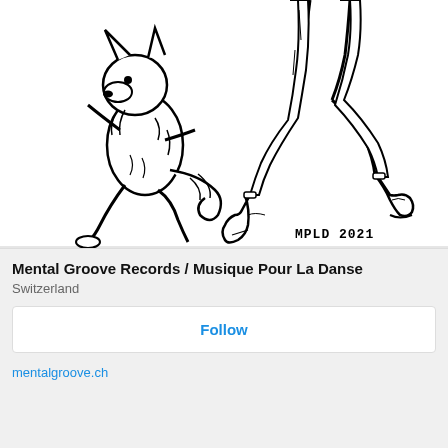[Figure (illustration): Black and white ink illustration showing a dancing fox/dog animal on the left and a pair of human legs in boots on the right, both appearing to dance. Text 'MPLD 2021' appears in the lower right of the illustration.]
Mental Groove Records / Musique Pour La Danse
Switzerland
Follow
mentalgroove.ch